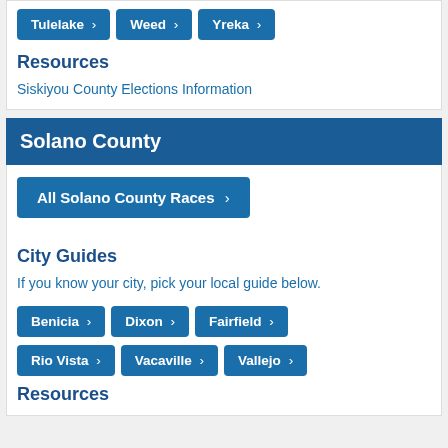Tulelake >
Weed >
Yreka >
Resources
Siskiyou County Elections Information
Solano County
All Solano County Races >
City Guides
If you know your city, pick your local guide below.
Benicia >
Dixon >
Fairfield >
Rio Vista >
Vacaville >
Vallejo >
Resources